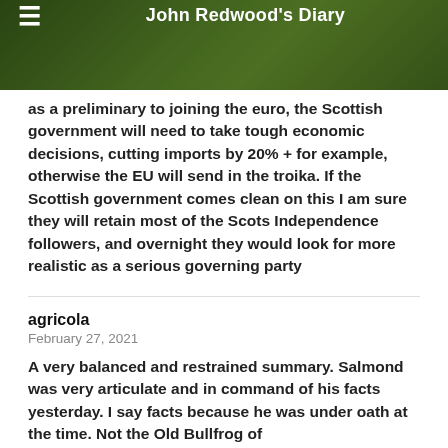John Redwood's Diary
as a preliminary to joining the euro, the Scottish government will need to take tough economic decisions, cutting imports by 20% + for example, otherwise the EU will send in the troika. If the Scottish government comes clean on this I am sure they will retain most of the Scots Independence followers, and overnight they would look for more realistic as a serious governing party
agricola
February 27, 2021
A very balanced and restrained summary. Salmond was very articulate and in command of his facts yesterday. I say facts because he was under oath at the time. Not the Old Bullfrog of